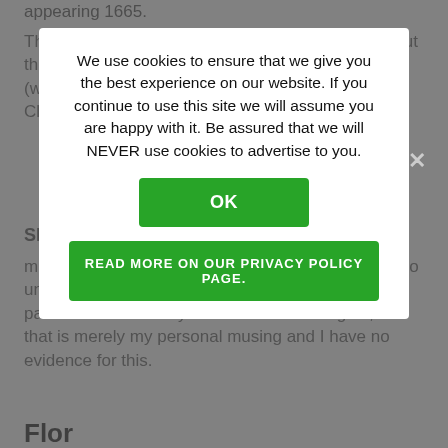appearing 1665.
The variant Dorighin is also appears in Trov and, but the more common spelling in Cloz is Dorighin (without the final vowel). The surname appears in Cloz baptismal records through the 1880s.
SIDE N
mention of a Dorigo Rauzi. This personal name is so unusual it did make me wonder if he was the patriarch of the family later known as Dorighin, but that is merely my personal musing and I have no evidence for this.
Flor
Bertoluzza says this is one of several surnames derived from the personal names like Floriano (male) or Flora/Fiore (female), indicating a patriarch or matriarch in the past with one of these names. He says it is derived from the Latin word
[Figure (screenshot): Cookie consent modal overlay with white dialog box on grey background. Contains message: 'We use cookies to ensure that we give you the best experience on our website. If you continue to use this site we will assume you are happy with it. Be assured that we will NEVER use cookies to advertise to you.' OK button in green, and 'READ MORE ON OUR PRIVACY POLICY PAGE.' green button below. Close X in top right corner of overlay.]